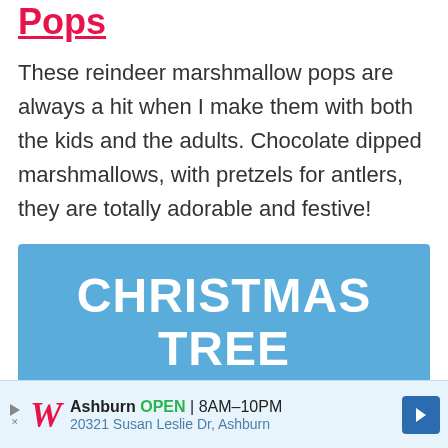Pops
These reindeer marshmallow pops are always a hit when I make them with both the kids and the adults. Chocolate dipped marshmallows, with pretzels for antlers, they are totally adorable and festive!
[Figure (infographic): Blue banner image with white bold text reading 'CHRISTMAS TREE' on top line and 'Marshmallow Pops' in cursive script below]
[Figure (infographic): Walgreens advertisement bar showing Ashburn location, OPEN 8AM-10PM, 20321 Susan Leslie Dr, Ashburn, with Walgreens W logo and navigation arrow icon]